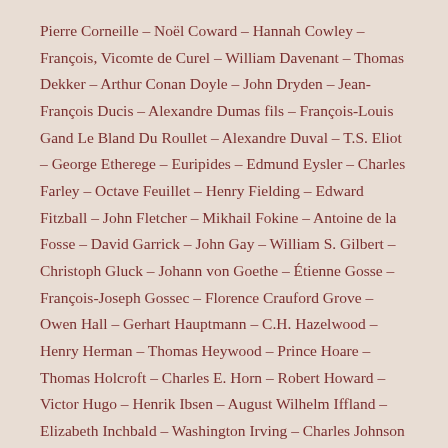Pierre Corneille – Noël Coward – Hannah Cowley – François, Vicomte de Curel – William Davenant – Thomas Dekker – Arthur Conan Doyle – John Dryden – Jean-François Ducis – Alexandre Dumas fils – François-Louis Gand Le Bland Du Roullet – Alexandre Duval – T.S. Eliot – George Etherege – Euripides – Edmund Eysler – Charles Farley – Octave Feuillet – Henry Fielding – Edward Fitzball – John Fletcher – Mikhail Fokine – Antoine de la Fosse – David Garrick – John Gay – William S. Gilbert – Christoph Gluck – Johann von Goethe – Étienne Gosse – François-Joseph Gossec – Florence Crauford Grove – Owen Hall – Gerhart Hauptmann – C.H. Hazelwood – Henry Herman – Thomas Heywood – Prince Hoare – Thomas Holcroft – Charles E. Horn – Robert Howard – Victor Hugo – Henrik Ibsen – August Wilhelm Iffland – Elizabeth Inchbald – Washington Irving – Charles Johnson – Samuel Johnson – Henry Arthur Jones – Ben Jonson – Joseph Lateiner – Marc-Antoine Legrand – Onésime Leroy – Robert Machray – Frederick Marchant – Christopher Marlowe – John Marston – John Westland Marston – Philip Massinger – Frederick Melville – Herman Charles Merivale – John C. Milligan – Molière